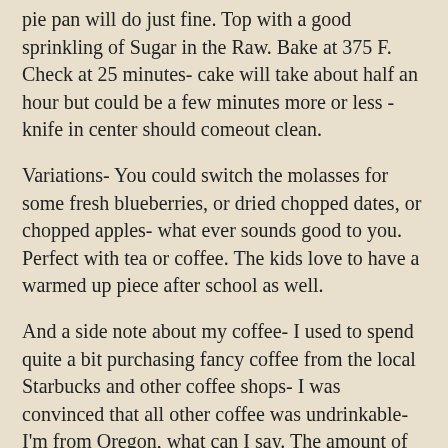pie pan will do just fine. Top with a good sprinkling of Sugar in the Raw. Bake at 375 F. Check at 25 minutes- cake will take about half an hour but could be a few minutes more or less - knife in center should comeout clean.
Variations- You could switch the molasses for some fresh blueberries, or dried chopped dates, or chopped apples- what ever sounds good to you. Perfect with tea or coffee. The kids love to have a warmed up piece after school as well.
And a side note about my coffee- I used to spend quite a bit purchasing fancy coffee from the local Starbucks and other coffee shops- I was convinced that all other coffee was undrinkable- I'm from Oregon, what can I say. The amount of money both my husband and I were spending was unacceptable for our frugal budget. Then one evening my mother in law came over for dinner, and brought a coffee maker and some Folgers and made a pot of coffee-it smelled good so I tasted it, and it wasn't bad. Then I remembered as a child this is all anyone would drink- I know, because I was in charge of making endless pots for my